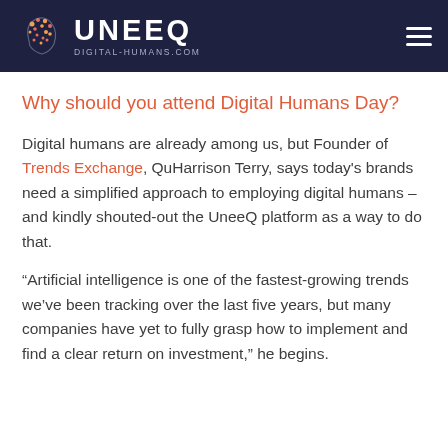UNEEQ DIGITAL-HUMANS.COM
Why should you attend Digital Humans Day?
Digital humans are already among us, but Founder of Trends Exchange, QuHarrison Terry, says today's brands need a simplified approach to employing digital humans – and kindly shouted-out the UneeQ platform as a way to do that.
“Artificial intelligence is one of the fastest-growing trends we’ve been tracking over the last five years, but many companies have yet to fully grasp how to implement and find a clear return on investment,” he begins.